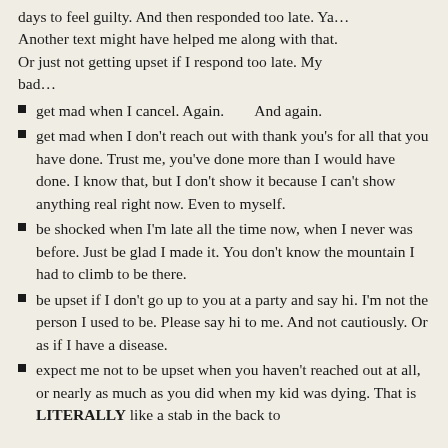days to feel guilty. And then responded too late. Ya… Another text might have helped me along with that. Or just not getting upset if I respond too late. My bad…
get mad when I cancel. Again.        And again.
get mad when I don't reach out with thank you's for all that you have done. Trust me, you've done more than I would have done. I know that, but I don't show it because I can't show anything real right now. Even to myself.
be shocked when I'm late all the time now, when I never was before. Just be glad I made it. You don't know the mountain I had to climb to be there.
be upset if I don't go up to you at a party and say hi. I'm not the person I used to be. Please say hi to me. And not cautiously. Or as if I have a disease.
expect me not to be upset when you haven't reached out at all, or nearly as much as you did when my kid was dying. That is LITERALLY like a stab in the back to